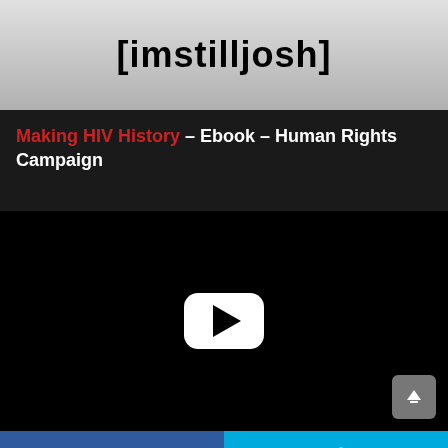[imstilljosh]
Making HIV History – Ebook – Human Rights Campaign
[Figure (screenshot): Black video player with white YouTube play button in center and gray scroll-to-top button in bottom right corner]
[Figure (other): Social sharing bar with Facebook button (blue) on left and Twitter button (cyan) on right]